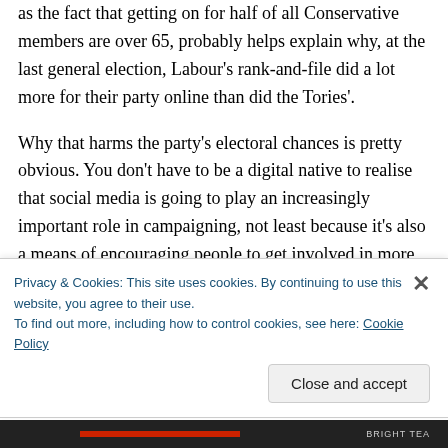as the fact that getting on for half of all Conservative members are over 65, probably helps explain why, at the last general election, Labour's rank-and-file did a lot more for their party online than did the Tories'.
Why that harms the party's electoral chances is pretty obvious. You don't have to be a digital native to realise that social media is going to play an increasingly important role in campaigning, not least because it's also a means of encouraging people to get involved in more traditional activities, such as canvassing, which seem to make a
Privacy & Cookies: This site uses cookies. By continuing to use this website, you agree to their use.
To find out more, including how to control cookies, see here: Cookie Policy